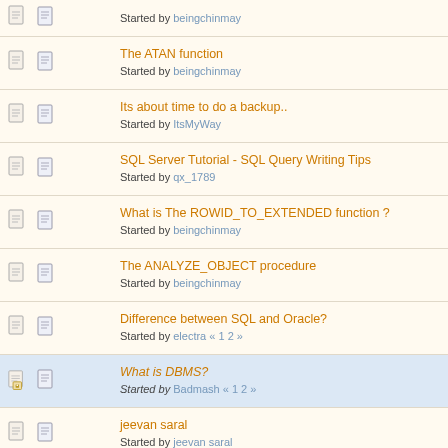Started by beingchinmay
The ATAN function
Started by beingchinmay
Its about time to do a backup..
Started by ItsMyWay
SQL Server Tutorial - SQL Query Writing Tips
Started by qx_1789
What is The ROWID_TO_EXTENDED function ?
Started by beingchinmay
The ANALYZE_OBJECT procedure
Started by beingchinmay
Difference between SQL and Oracle?
Started by electra « 1 2 »
What is DBMS?
Started by Badmash « 1 2 »
jeevan saral
Started by jeevan saral
Database Fatal error
Started by darko25
What's the best way to import a large mysql database ?
Started by megaman